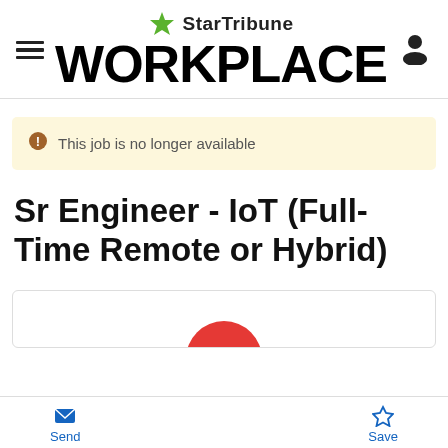StarTribune WORKPLACE
This job is no longer available
Sr Engineer - IoT (Full-Time Remote or Hybrid)
[Figure (logo): Partial company logo (red circular element, partially visible)]
Send  Save